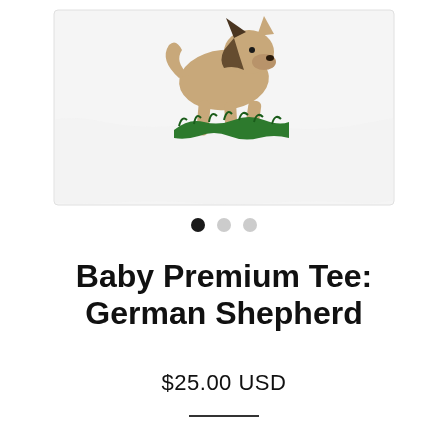[Figure (photo): A white baby t-shirt with a German Shepherd dog graphic printed on the front, shown against a white background. The shirt is partially cropped at the top.]
[Figure (other): Three pagination dots: first dot is filled black, second and third dots are light gray, indicating a product image carousel on slide 1 of 3.]
Baby Premium Tee: German Shepherd
$25.00 USD
———